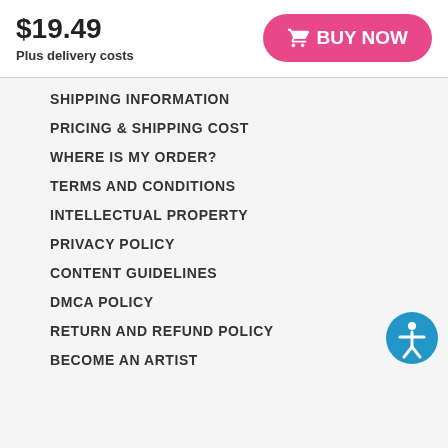$19.49
Plus delivery costs
BUY NOW
SHIPPING INFORMATION
PRICING & SHIPPING COST
WHERE IS MY ORDER?
TERMS AND CONDITIONS
INTELLECTUAL PROPERTY
PRIVACY POLICY
CONTENT GUIDELINES
DMCA POLICY
RETURN AND REFUND POLICY
BECOME AN ARTIST
[Figure (illustration): Blue circle accessibility icon with a human figure]